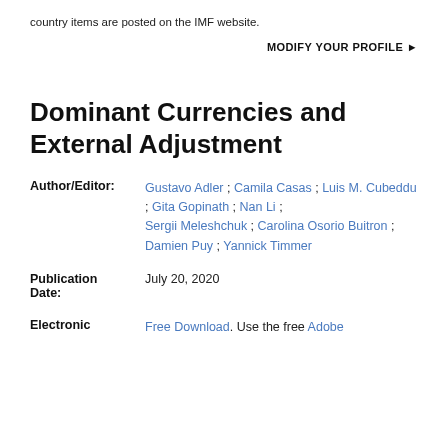country items are posted on the IMF website.
MODIFY YOUR PROFILE ▶
Dominant Currencies and External Adjustment
| Field | Value |
| --- | --- |
| Author/Editor: | Gustavo Adler ; Camila Casas ; Luis M. Cubeddu ; Gita Gopinath ; Nan Li ; Sergii Meleshchuk ; Carolina Osorio Buitron ; Damien Puy ; Yannick Timmer |
| Publication Date: | July 20, 2020 |
| Electronic | Free Download. Use the free Adobe |